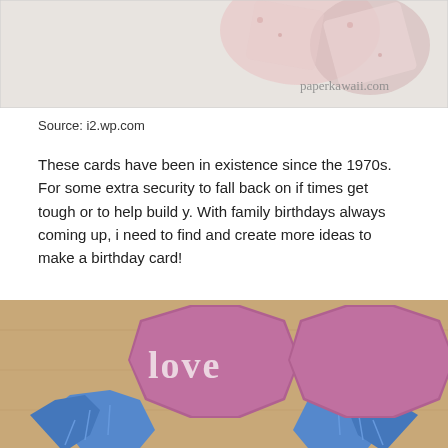[Figure (photo): Top portion of an origami paper craft item with floral patterned paper, with watermark text 'paperkawaii.com' in the bottom right corner]
Source: i2.wp.com
These cards have been in existence since the 1970s. For some extra security to fall back on if times get tough or to help build y. With family birthdays always coming up, i need to find and create more ideas to make a birthday card!
[Figure (photo): Two origami paper hearts made from purple/pink decorative paper with blue floral origami paper folded underneath, spelling out the word 'love' in white letters on the front]